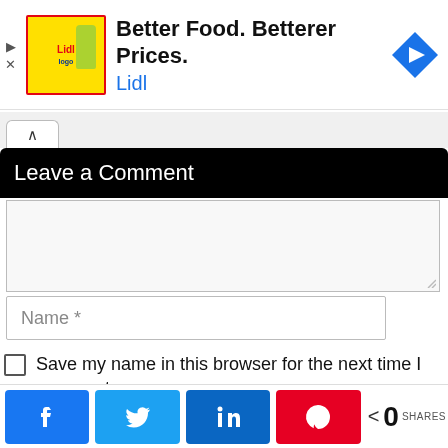[Figure (screenshot): Lidl advertisement banner with logo, headline 'Better Food. Betterer Prices.' and brand name 'Lidl' in blue, with a blue navigation arrow icon on the right and ad control icons on the left.]
Leave a Comment
Name *
Save my name in this browser for the next time I comment.
[Figure (screenshot): Social share bar with Facebook, Twitter, LinkedIn, Pinterest buttons and a share count showing 0 SHARES.]